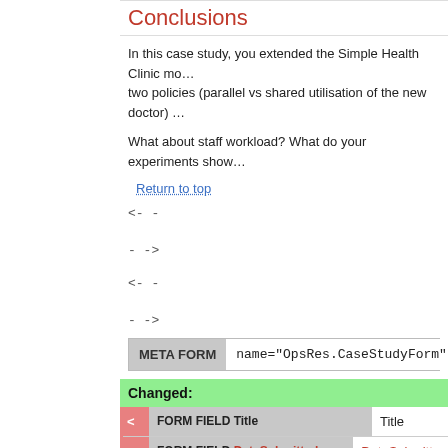Conclusions
In this case study, you extended the Simple Health Clinic mo... two policies (parallel vs shared utilisation of the new doctor) ...
What about staff workload? What do your experiments show...
Return to top
< - -
- - >
< - -
- - >
| META FORM | name="OpsRes.CaseStudyForm" |
| --- | --- |
Changed:
|  | FORM FIELD Title | Title |
| --- | --- | --- |
| < | FORM FIELD DateSubmitted | DateSubmitted |